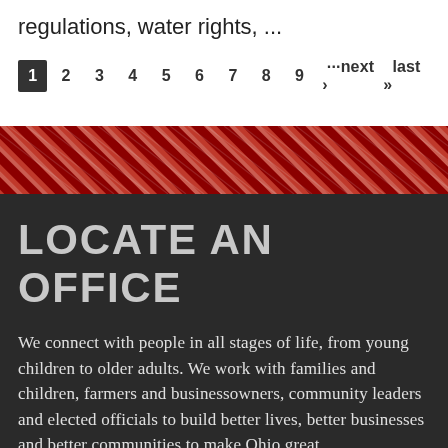regulations, water rights, ...
1 2 3 4 5 6 7 8 9 ···next › last »
[Figure (other): Diagonal red and white stripe divider band]
LOCATE AN OFFICE
We connect with people in all stages of life, from young children to older adults. We work with families and children, farmers and businessowners, community leaders and elected officials to build better lives, better businesses and better communities to make Ohio great.